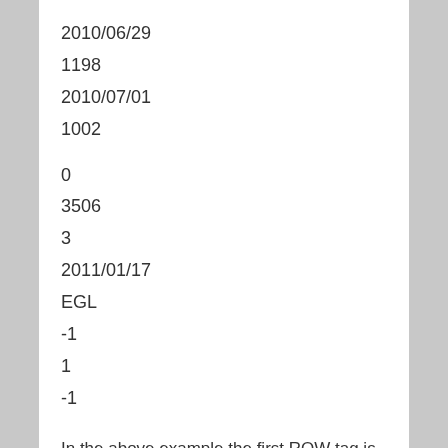2010/06/29
1198
2010/07/01
1002
0
3506
3
2011/01/17
EGL
-1
1
-1
In the above example the first ROW tag is